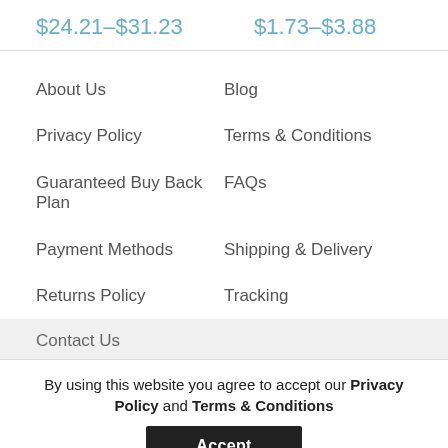$24.21–$31.23   $1.73–$3.88
About Us
Blog
Privacy Policy
Terms & Conditions
Guaranteed Buy Back Plan
FAQs
Payment Methods
Shipping & Delivery
Returns Policy
Tracking
Contact Us
By using this website you agree to accept our Privacy Policy and Terms & Conditions
Accept